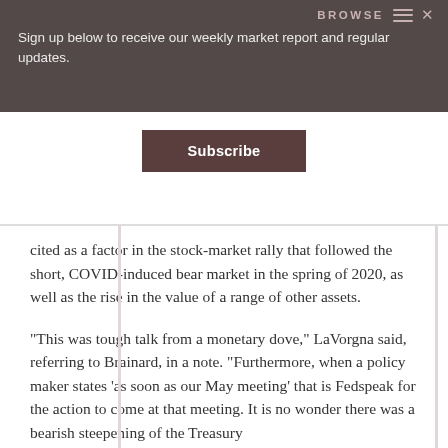BROWSE
Sign up below to receive our weekly market report and regular updates.
[Figure (other): Subscribe button]
cited as a factor in the stock-market rally that followed the short, COVID-induced bear market in the spring of 2020, as well as the rise in the value of a range of other assets.
“This was tough talk from a monetary dove,” LaVorgna said, referring to Brainard, in a note. “Furthermore, when a policy maker states ‘as soon as our May meeting’ that is Fedspeak for the action to come at that meeting. It is no wonder there was a bearish steepening of the Treasury